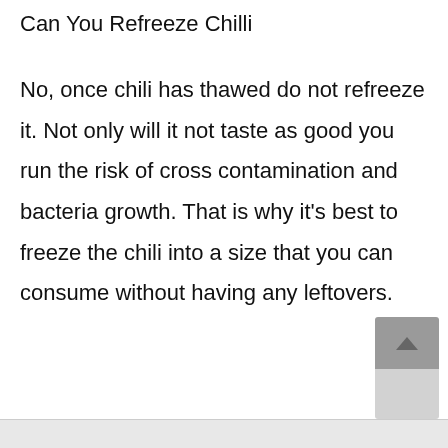Can You Refreeze Chilli
No, once chili has thawed do not refreeze it. Not only will it not taste as good you run the risk of cross contamination and bacteria growth. That is why it’s best to freeze the chili into a size that you can consume without having any leftovers.